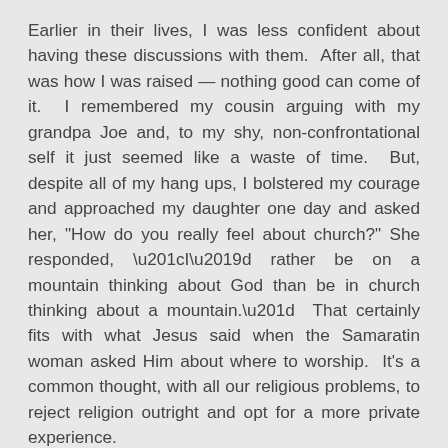Earlier in their lives, I was less confident about having these discussions with them.  After all, that was how I was raised — nothing good can come of it.  I remembered my cousin arguing with my grandpa Joe and, to my shy, non-confrontational self it just seemed like a waste of time.  But, despite all of my hang ups, I bolstered my courage and approached my daughter one day and asked her, "How do you really feel about church?" She responded, “I’d rather be on a mountain thinking about God than be in church thinking about a mountain.”  That certainly fits with what Jesus said when the Samaratin woman asked Him about where to worship.  It's a common thought, with all our religious problems, to reject religion outright and opt for a more private experience.
It is pretty common to hear the phrase, “Jesus didn't come to start a religion.”  That's true, at least of Christianity.  He